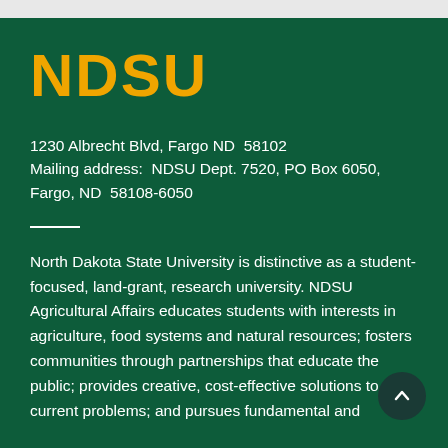NDSU
1230 Albrecht Blvd, Fargo ND  58102
Mailing address:  NDSU Dept. 7520, PO Box 6050, Fargo, ND  58108-6050
North Dakota State University is distinctive as a student-focused, land-grant, research university. NDSU Agricultural Affairs educates students with interests in agriculture, food systems and natural resources; fosters communities through partnerships that educate the public; provides creative, cost-effective solutions to current problems; and pursues fundamental and